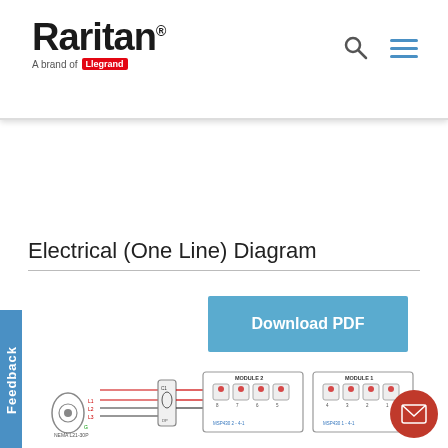Raritan - A brand of Legrand
Electrical (One Line) Diagram
Download PDF
[Figure (engineering-diagram): Electrical one-line diagram showing wiring from a power input connector (NEMA L21-30P) through circuit breakers to multiple outlet modules: MODULE 1 (MSP430 1-4-1), MODULE 2 (MSP430 2-4-1), MODULE 3 (MSP430 3-4-1), MODULE 4 (MSP430 4-4-1), with additional modules partially visible at the bottom. Red and black lines indicate L1, L2, L3 phase wiring.]